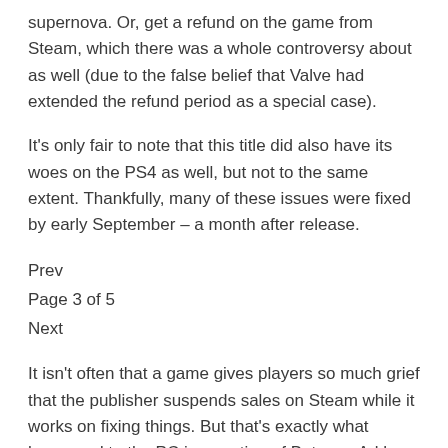supernova. Or, get a refund on the game from Steam, which there was a whole controversy about as well (due to the false belief that Valve had extended the refund period as a special case).
It's only fair to note that this title did also have its woes on the PS4 as well, but not to the same extent. Thankfully, many of these issues were fixed by early September – a month after release.
Prev
Page 3 of 5
Next
It isn't often that a game gives players so much grief that the publisher suspends sales on Steam while it works on fixing things. But that's exactly what happened to the PC incarnation of Batman: Arkham Knight last summer, when it was taken off the scene for around four months in order to be straightened out.
It seems that Batman had 99 problems (but a batarang wasn't